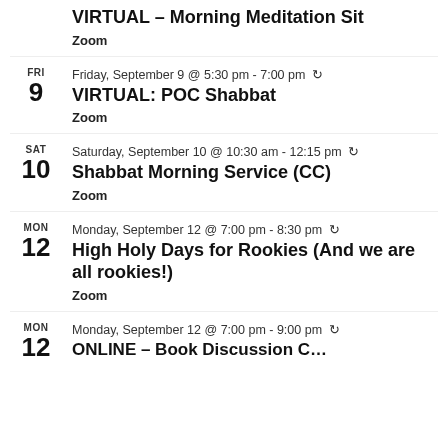VIRTUAL – Morning Meditation Sit
Zoom
FRI 9 | Friday, September 9 @ 5:30 pm - 7:00 pm | VIRTUAL: POC Shabbat | Zoom
SAT 10 | Saturday, September 10 @ 10:30 am - 12:15 pm | Shabbat Morning Service (CC) | Zoom
MON 12 | Monday, September 12 @ 7:00 pm - 8:30 pm | High Holy Days for Rookies (And we are all rookies!) | Zoom
MON 12 | Monday, September 12 @ 7:00 pm - 9:00 pm | ONLINE – Book Discussion C...